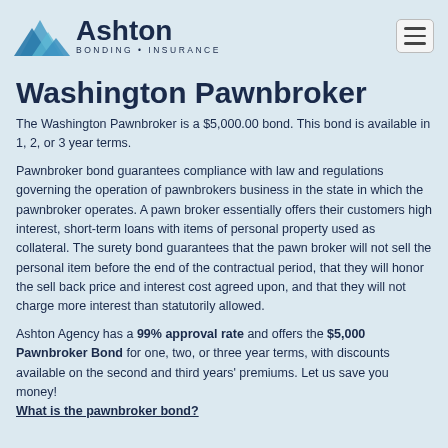Ashton Bonding • Insurance
Washington Pawnbroker
The Washington Pawnbroker is a $5,000.00 bond. This bond is available in 1, 2, or 3 year terms.
Pawnbroker bond guarantees compliance with law and regulations governing the operation of pawnbrokers business in the state in which the pawnbroker operates. A pawn broker essentially offers their customers high interest, short-term loans with items of personal property used as collateral. The surety bond guarantees that the pawn broker will not sell the personal item before the end of the contractual period, that they will honor the sell back price and interest cost agreed upon, and that they will not charge more interest than statutorily allowed.
Ashton Agency has a 99% approval rate and offers the $5,000 Pawnbroker Bond for one, two, or three year terms, with discounts available on the second and third years' premiums. Let us save you money!
What is the pawnbroker bond?